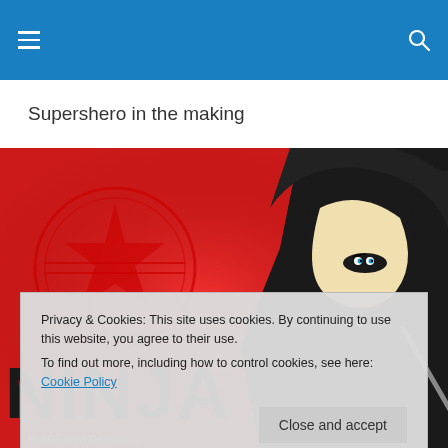Navigation menu and search icons on blue header bar
Supershero in the making
[Figure (illustration): Ninja character illustration on red background with 'NINJA' text and a circular ninja emblem logo, with text 'IMAGES WITH MEDIA' at bottom left]
Privacy & Cookies: This site uses cookies. By continuing to use this website, you agree to their use.
To find out more, including how to control cookies, see here: Cookie Policy
Close and accept